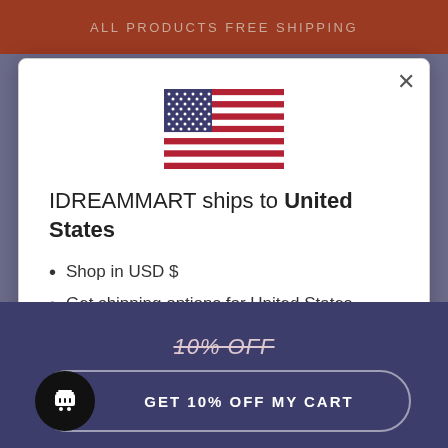ALL PRODUCTS FREE SHIPPING
[Figure (illustration): US flag SVG illustration centered in modal]
IDREAMMART ships to United States
Shop in USD $
Get shipping options for United States
SHOP NOW
10% OFF
GET 10% OFF MY CART